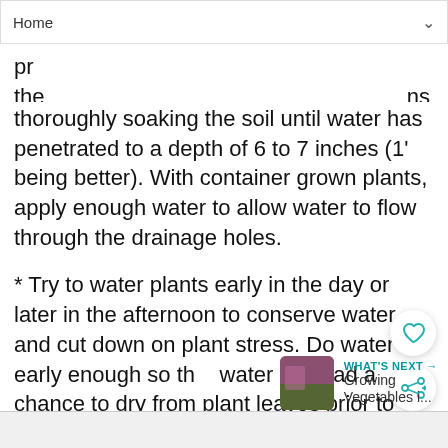Home
thoroughly soaking the soil until water has penetrated to a depth of 6 to 7 inches (1' being better). With container grown plants, apply enough water to allow water to flow through the drainage holes.
* Try to water plants early in the day or later in the afternoon to conserve water and cut down on plant stress. Do water early enough so that water has had a chance to dry from plant leaves prior to night fall. This is paramount if you have had fungus problems.
WHAT'S NEXT → Growing Vegetables i...